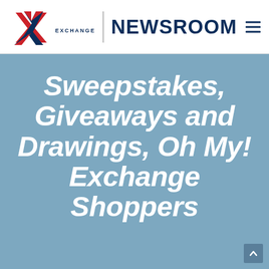EXCHANGE NEWSROOM
Sweepstakes, Giveaways and Drawings, Oh My! Exchange Shoppers